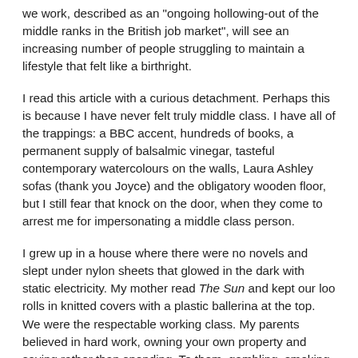we work, described as an "ongoing hollowing-out of the middle ranks in the British job market", will see an increasing number of people struggling to maintain a lifestyle that felt like a birthright.
I read this article with a curious detachment. Perhaps this is because I have never felt truly middle class. I have all of the trappings: a BBC accent, hundreds of books, a permanent supply of balsalmic vinegar, tasteful contemporary watercolours on the walls, Laura Ashley sofas (thank you Joyce) and the obligatory wooden floor, but I still fear that knock on the door, when they come to arrest me for impersonating a middle class person.
I grew up in a house where there were no novels and slept under nylon sheets that glowed in the dark with static electricity. My mother read The Sun and kept our loo rolls in knitted covers with a plastic ballerina at the top. We were the respectable working class. My parents believed in hard work, owning your own property and saving rather than spending. To them, gambling, smoking and drinking were utterly immoral and threatened to plunge them back into the class...